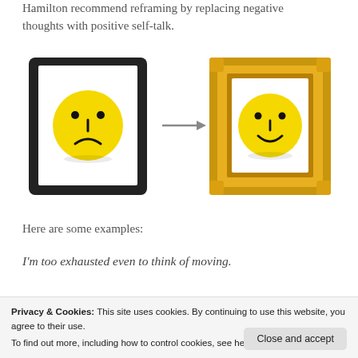Hamilton recommend reframing by replacing negative thoughts with positive self-talk.
[Figure (illustration): Two frames side by side connected by an arrow. Left: a black digital/tablet frame containing a sad yellow smiley face. Right: an ornate gold picture frame containing a happy yellow smiley face. The arrow points from left to right, illustrating the concept of reframing negative thoughts into positive self-talk.]
Here are some examples:
I'm too exhausted even to think of moving.
Privacy & Cookies: This site uses cookies. By continuing to use this website, you agree to their use.
To find out more, including how to control cookies, see here: Cookie Policy